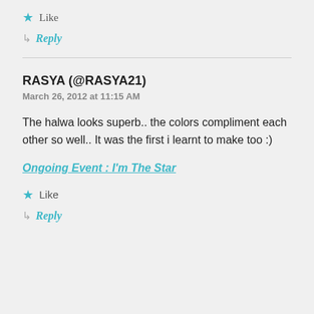Like
Reply
RASYA (@RASYA21)
March 26, 2012 at 11:15 AM
The halwa looks superb.. the colors compliment each other so well.. It was the first i learnt to make too :)
Ongoing Event : I'm The Star
Like
Reply